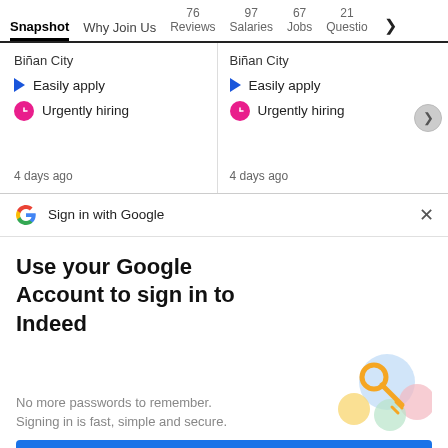Snapshot | Why Join Us | 76 Reviews | 97 Salaries | 67 Jobs | 21 Questions
Biñan City | Easily apply | Urgently hiring | 4 days ago (left card)
Biñan City | Easily apply | Urgently hiring | 4 days ago (right card)
Sign in with Google
Use your Google Account to sign in to Indeed
No more passwords to remember. Signing in is fast, simple and secure.
Continue